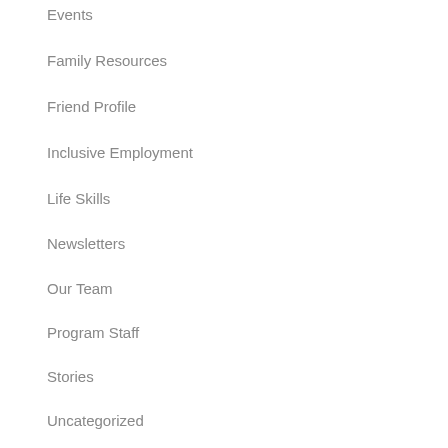Events
Family Resources
Friend Profile
Inclusive Employment
Life Skills
Newsletters
Our Team
Program Staff
Stories
Uncategorized
Volunteers
Meta
Log in
Entries feed